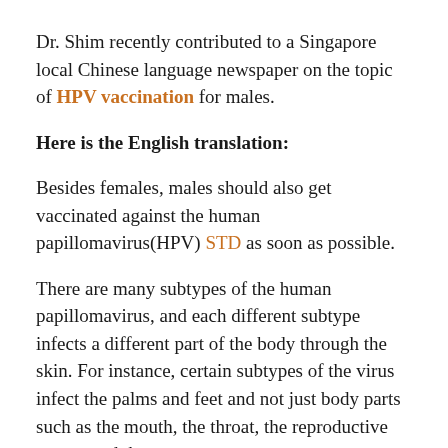Dr. Shim recently contributed to a Singapore local Chinese language newspaper on the topic of HPV vaccination for males.
Here is the English translation:
Besides females, males should also get vaccinated against the human papillomavirus(HPV) STD as soon as possible.
There are many subtypes of the human papillomavirus, and each different subtype infects a different part of the body through the skin. For instance, certain subtypes of the virus infect the palms and feet and not just body parts such as the mouth, the throat, the reproductive organs and the anus.